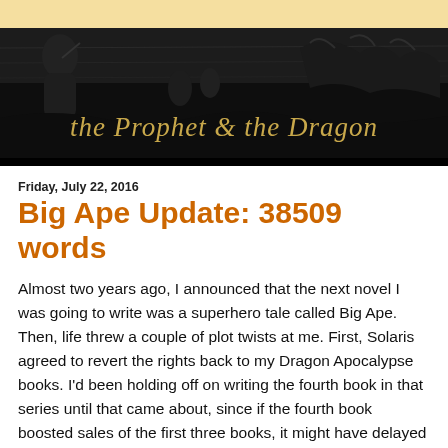the Prophet & the Dragon
Friday, July 22, 2016
Big Ape Update: 38509 words
Almost two years ago, I announced that the next novel I was going to write was a superhero tale called Big Ape. Then, life threw a couple of plot twists at me. First, Solaris agreed to revert the rights back to my Dragon Apocalypse books. I'd been holding off on writing the fourth book in that series until that came about, since if the fourth book boosted sales of the first three books, it might have delayed the reversion. Second, I was named Piedmont Laureate for 2015, and spent a year teaching and talking about writing, but not actually producing much work. When my laureate duties came an end, I plunged into the fourth Dragon Apocalypse